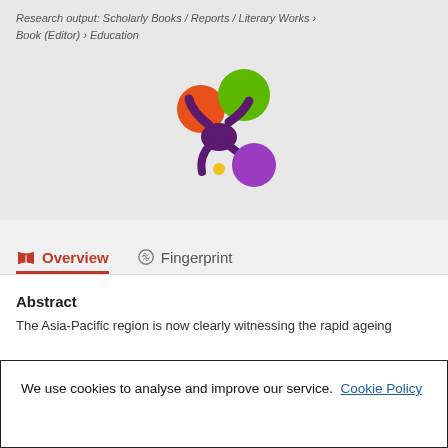Research output: Scholarly Books / Reports / Literary Works › Book (Editor) › Education
[Figure (logo): Colorful abstract logo with orange, green, purple circles connected by a purple splat/asterisk shape with a small yellow dot, resembling a research platform logo]
Overview
Fingerprint
Abstract
The Asia-Pacific region is now clearly witnessing the rapid ageing
We use cookies to analyse and improve our service. Cookie Policy